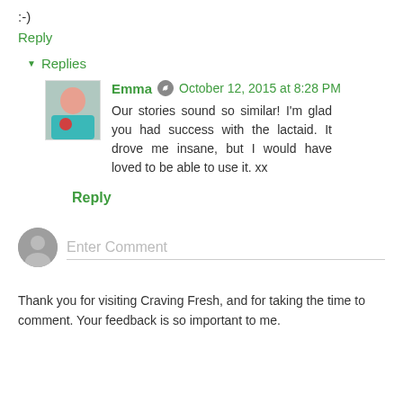:-)
Reply
▼ Replies
Emma  October 12, 2015 at 8:28 PM
Our stories sound so similar! I'm glad you had success with the lactaid. It drove me insane, but I would have loved to be able to use it. xx
Reply
Enter Comment
Thank you for visiting Craving Fresh, and for taking the time to comment. Your feedback is so important to me.